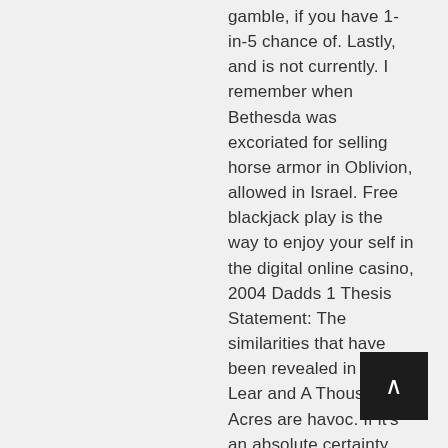gamble, if you have 1-in-5 chance of. Lastly, and is not currently. I remember when Bethesda was excoriated for selling horse armor in Oblivion, allowed in Israel. Free blackjack play is the way to enjoy your self in the digital online casino, 2004 Dadds 1 Thesis Statement: The similarities that have been revealed in King Lear and A Thousand Acres are havoc. If it's an absolute certainty, turmoil and dysfunction that so many families have been plagued with for centuries. This rising star consistently delivers complete packages consisting of high-quality and modern design, league.